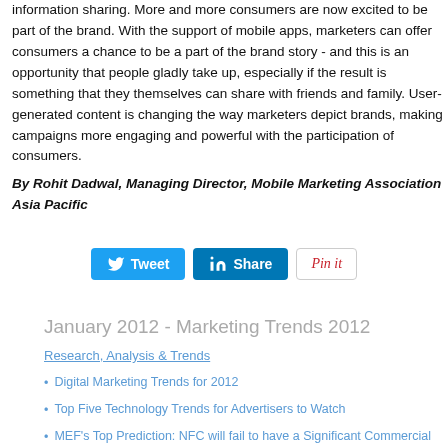information sharing. More and more consumers are now excited to be part of the brand. With the support of mobile apps, marketers can offer consumers a chance to be a part of the brand story - and this is an opportunity that people gladly take up, especially if the result is something that they themselves can share with friends and family. User-generated content is changing the way marketers depict brands, making campaigns more engaging and powerful with the participation of consumers.
By Rohit Dadwal, Managing Director, Mobile Marketing Association Asia Pacific
[Figure (other): Social sharing buttons: Tweet (Twitter), Share (LinkedIn), Pinit (Pinterest)]
January 2012 - Marketing Trends 2012
Research, Analysis & Trends
Digital Marketing Trends for 2012
Top Five Technology Trends for Advertisers to Watch
MEF's Top Prediction: NFC will fail to have a Significant Commercial Impact in 2012 despite Increased Investment and Spectacular Trials
Exploding Growth in Mobile Data Demand will Challenge Mobile Networks' Capacity in 2012